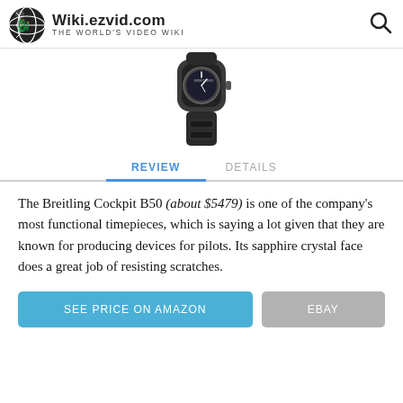Wiki.ezvid.com The World's Video Wiki
[Figure (photo): Photo of a Breitling Cockpit B50 watch, dark/black colored with rubber strap, viewed from a slightly elevated angle showing the face and strap.]
REVIEW   DETAILS
The Breitling Cockpit B50 (about $5479) is one of the company's most functional timepieces, which is saying a lot given that they are known for producing devices for pilots. Its sapphire crystal face does a great job of resisting scratches.
SEE PRICE ON AMAZON   EBAY